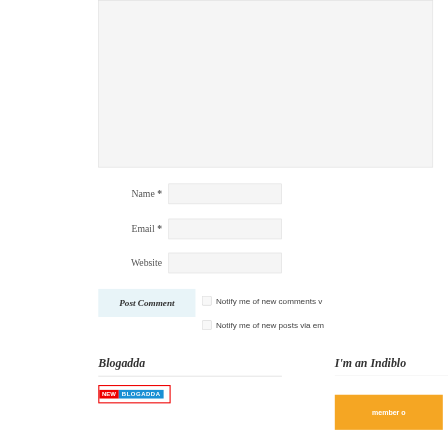[Figure (screenshot): Comment form area showing a textarea (top), Name, Email, Website input fields, Post Comment button, and two notification checkboxes]
Name *
Email *
Website
Post Comment
Notify me of new comments v
Notify me of new posts via em
Blogadda
I'm an Indiblo
[Figure (logo): NEW BLOGADDA badge in red and blue]